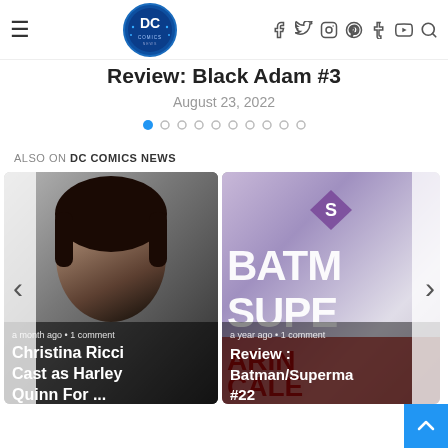DC Comics News navigation bar with hamburger menu, DC Comics News logo, social icons (Facebook, Twitter, Instagram, Pinterest, Tumblr, YouTube) and search icon
Review: Black Adam #3
August 23, 2022
[Figure (other): Carousel pagination dots — one filled blue dot and nine empty circle dots]
ALSO ON DC COMICS NEWS
[Figure (photo): Card 1: Photo of Christina Ricci with overlay text 'a month ago • 1 comment' and title 'Christina Ricci Cast as Harley Quinn For ...']
[Figure (photo): Card 2: Batman/Superman comic cover image with overlay text 'a year ago • 1 comment' and title 'Review : Batman/Superman #22']